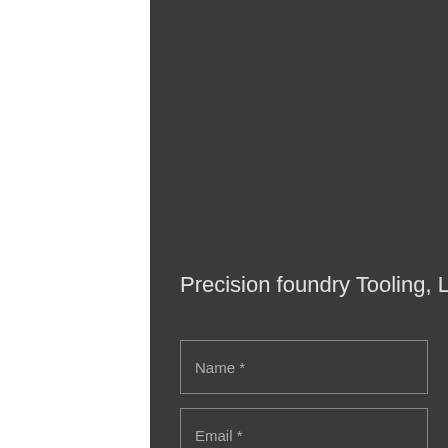Precision foundry Tooling, Ltd.®
Name *
Email *
Phone